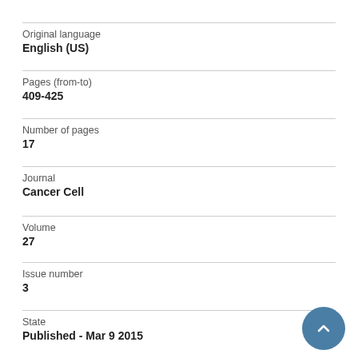Original language
English (US)
Pages (from-to)
409-425
Number of pages
17
Journal
Cancer Cell
Volume
27
Issue number
3
State
Published - Mar 9 2015